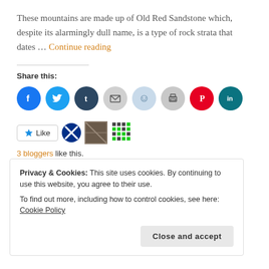These mountains are made up of Old Red Sandstone which, despite its alarmingly dull name, is a type of rock strata that dates … Continue reading
Share this:
[Figure (infographic): Row of social share icon buttons: Facebook (blue circle), Twitter (light blue circle), Tumblr (dark navy circle), Email (light grey circle), Reddit (pale blue circle), Print (grey circle), Pinterest (red circle), LinkedIn (dark teal circle)]
[Figure (infographic): Like button with star icon, followed by small avatar icons for bloggers]
3 bloggers like this.
Privacy & Cookies: This site uses cookies. By continuing to use this website, you agree to their use.
To find out more, including how to control cookies, see here: Cookie Policy
Close and accept